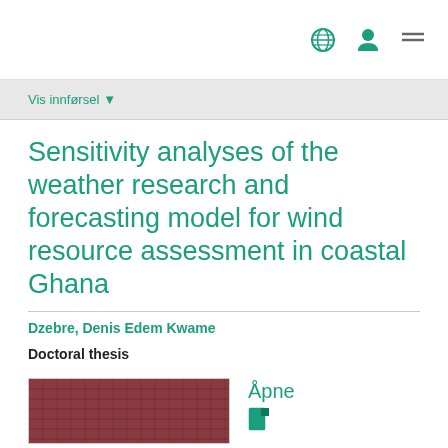Navigation bar with globe, user, and menu icons
Vis innførsel ▾
Sensitivity analyses of the weather research and forecasting model for wind resource assessment in coastal Ghana
Dzebre, Denis Edem Kwame
Doctoral thesis
Åpne